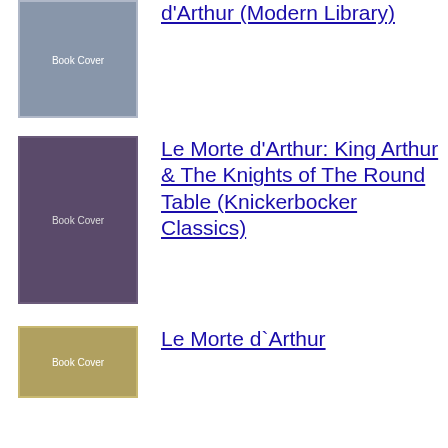[Figure (illustration): Book cover for Le Morte d'Arthur (Modern Library)]
Le Morte d'Arthur (Modern Library)
[Figure (illustration): Book cover for Le Morte d'Arthur: King Arthur & The Knights of The Round Table (Knickerbocker Classics)]
Le Morte d'Arthur: King Arthur & The Knights of The Round Table (Knickerbocker Classics)
[Figure (illustration): Book cover for Le Morte d'Arthur]
Le Morte d`Arthur
[Figure (illustration): Book cover for Le Morte d'Arthur: The 1485 Literary Classic Tale of the Legend of King Arthur, Merlin, Excalibur, and the Knights of the Round Table]
Le Morte d'Arthur: The 1485 Literary Classic Tale of the Legend of King Arthur, Merlin, Excalibur, and the Knights of the Round Table